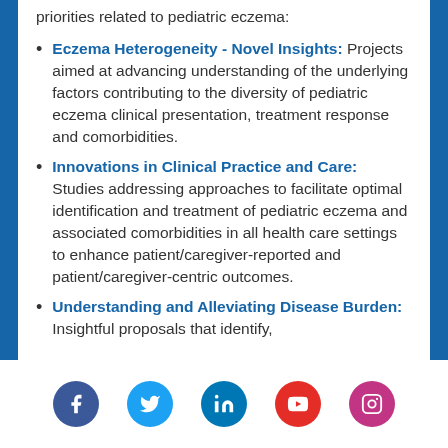priorities related to pediatric eczema:
Eczema Heterogeneity - Novel Insights: Projects aimed at advancing understanding of the underlying factors contributing to the diversity of pediatric eczema clinical presentation, treatment response and comorbidities.
Innovations in Clinical Practice and Care: Studies addressing approaches to facilitate optimal identification and treatment of pediatric eczema and associated comorbidities in all health care settings to enhance patient/caregiver-reported and patient/caregiver-centric outcomes.
Understanding and Alleviating Disease Burden: Insightful proposals that identify,
[Figure (other): Social media icons row: Facebook (blue circle), Twitter (cyan circle), LinkedIn (teal circle), YouTube (red circle), Instagram (pink/purple circle)]